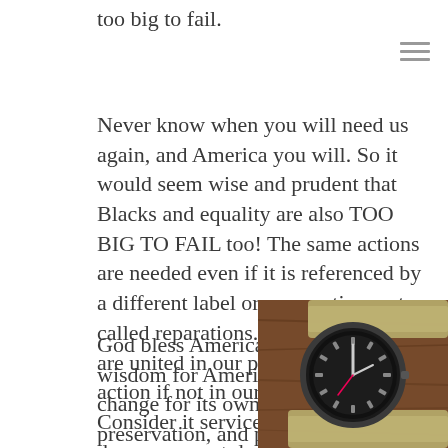too big to fail.
Never know when you will need us again, and America you will. So it would seem wise and prudent that Blacks and equality are also TOO BIG TO FAIL too! The same actions are needed even if it is referenced by a different label or perspective, not called reparations. So you see, we are united in our prerequisite for this action if not in our method how. Consider it services rendered or a down payment deposit.
God bless America and the wisdom for America to change for its own salvation, preservation, and prosperity equally. Let us pray in honor of the Christian cloak of deceit that you have hidden under for so long, the
[Figure (photo): A vintage wristwatch with a dark dial on a khaki/olive NATO strap, photographed on a wooden surface.]